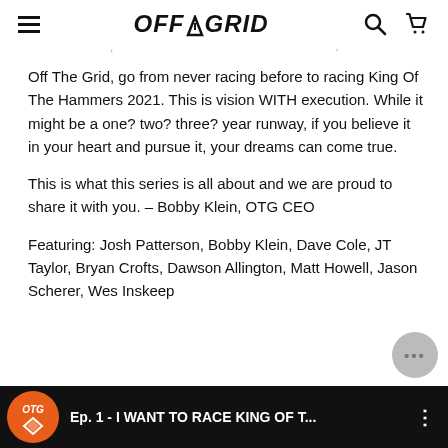OFF THE GRID (logo) | hamburger menu | search | cart
Off The Grid, go from never racing before to racing King Of The Hammers 2021. This is vision WITH execution. While it might be a one? two? three? year runway, if you believe it in your heart and pursue it, your dreams can come true.

This is what this series is all about and we are proud to share it with you. – Bobby Klein, OTG CEO

Featuring: Josh Patterson, Bobby Klein, Dave Cole, JT Taylor, Bryan Crofts, Dawson Allington, Matt Howell, Jason Scherer, Wes Inskeep
[Figure (screenshot): Video thumbnail bar showing OTG logo (orange circle) and title 'Ep. 1 - I WANT TO RACE KING OF T...' with three-dot menu on dark background]